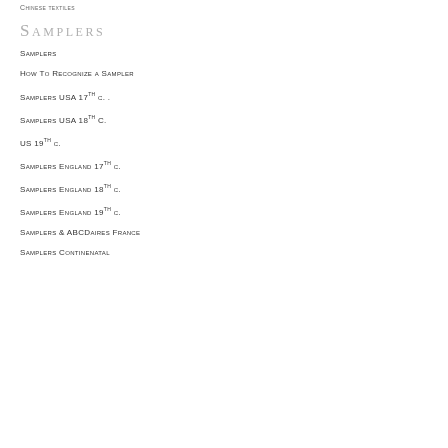Chinese textiles
Samplers
Samplers
How To Recognize a Sampler
Samplers USA 17th c. .
Samplers USA 18th C.
US 19th c.
Samplers England 17th c.
Samplers England 18th c.
Samplers England 19th c.
Samplers & ABCDaires France
Samplers Continenatal